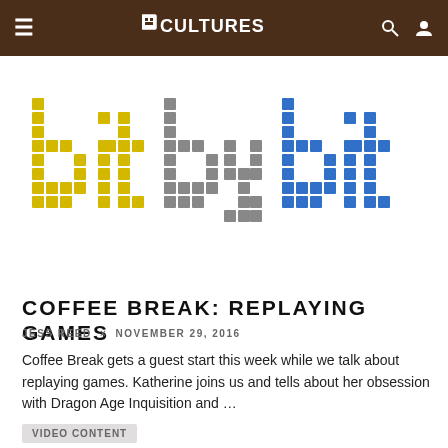Bit Cultures navigation bar
[Figure (logo): Bit by Bit pixel art logo — 'bit' in yellow pixel blocks, 'by' in gray pixel blocks, 'bit' in blue pixel blocks]
COFFEE BREAK: REPLAYING GAMES
JESS REED × NOVEMBER 29, 2016
Coffee Break gets a guest start this week while we talk about replaying games. Katherine joins us and tells about her obsession with Dragon Age Inquisition and …
VIDEO CONTENT